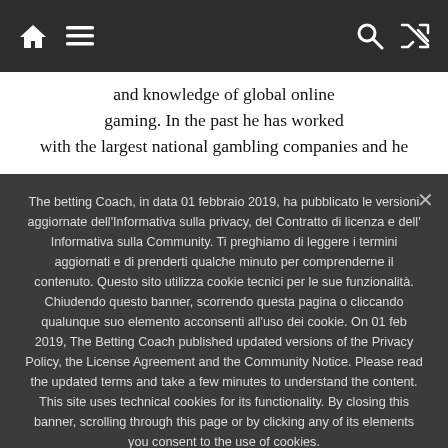[Navigation bar with home, menu, search, and shuffle icons]
and knowledge of global online gaming. In the past he has worked with the largest national gambling companies and he
The betting Coach, in data 01 febbraio 2019, ha pubblicato le versioni aggiornate dell'Informativa sulla privacy, del Contratto di licenza e dell' Informativa sulla Community. Ti preghiamo di leggere i termini aggiornati e di prenderti qualche minuto per comprenderne il contenuto. Questo sito utilizza cookie tecnici per le sue funzionalità. Chiudendo questo banner, scorrendo questa pagina o cliccando qualunque suo elemento acconsenti all'uso dei cookie. On 01 feb 2019, The Betting Coach published updated versions of the Privacy Policy, the License Agreement and the Community Notice. Please read the updated terms and take a few minutes to understand the content. This site uses technical cookies for its functionality. By closing this banner, scrolling through this page or by clicking any of its elements you consent to the use of cookies.
Ok